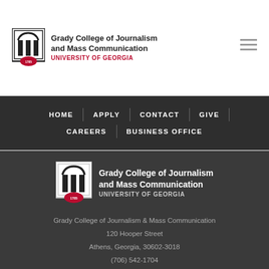Grady College of Journalism and Mass Communication UNIVERSITY OF GEORGIA
HOME | APPLY | CONTACT | GIVE | CAREERS | BUSINESS OFFICE
[Figure (logo): Grady College of Journalism and Mass Communication, University of Georgia logo with arch icon — footer version]
Grady College of Journalism & Mass Communication
120 Hooper Street
Athens, Georgia, 30602-3018
(706) 542-1704